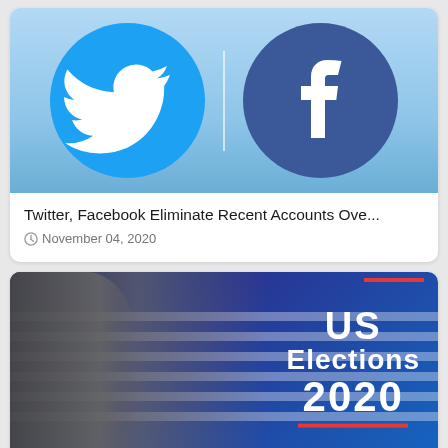[Figure (illustration): Twitter bird logo and Facebook 'f' logo side by side on a light blue background]
Twitter, Facebook Eliminate Recent Accounts Ove...
November 04, 2020
[Figure (photo): Two men (Biden and Trump) in front of US flag background with text 'US Elections 2020']
After Trailing In Key States, Trump Sues In 3 States